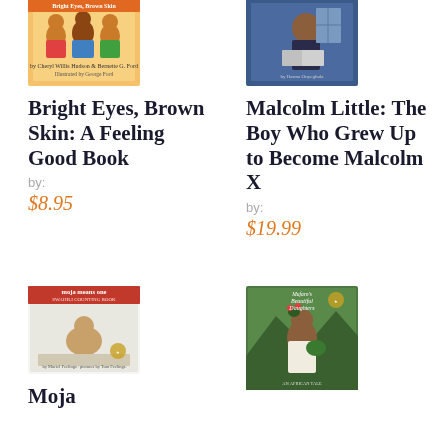[Figure (illustration): Book cover for Bright Eyes, Brown Skin: A Feeling Good Book]
Bright Eyes, Brown Skin: A Feeling Good Book
by:
$8.95
[Figure (illustration): Book cover for Malcolm Little: The Boy Who Grew Up to Become Malcolm X]
Malcolm Little: The Boy Who Grew Up to Become Malcolm X
by:
$19.99
[Figure (illustration): Book cover for Moja Means One: Swahili Counting Book]
Moja
[Figure (illustration): Book cover for Mufaro's Beautiful Daughters]